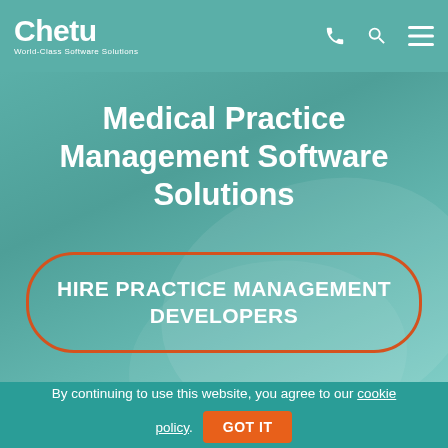Chetu World-Class Software Solutions
Medical Practice Management Software Solutions
HIRE PRACTICE MANAGEMENT DEVELOPERS
By continuing to use this website, you agree to our cookie policy. GOT IT